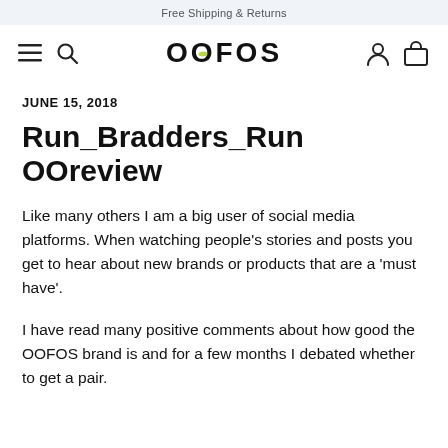Free Shipping & Returns
[Figure (logo): OOFOS brand logo with navigation icons (hamburger menu, search, user account, shopping bag)]
JUNE 15, 2018
Run_Bradders_Run OOreview
Like many others I am a big user of social media platforms. When watching people's stories and posts you get to hear about new brands or products that are a 'must have'.
I have read many positive comments about how good the OOFOS brand is and for a few months I debated whether to get a pair.